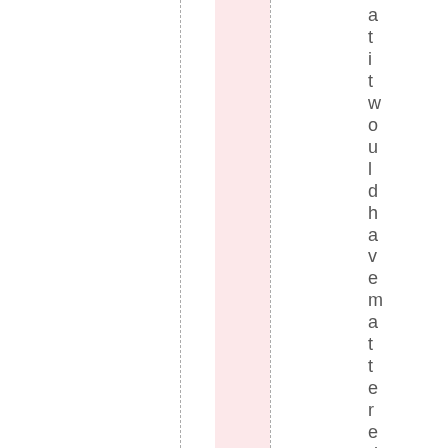at it would have mattered. Mys